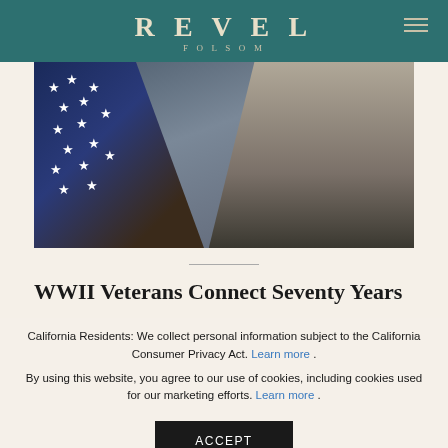REVEL FOLSOM
[Figure (photo): Elderly veteran man seated in front of a folded American flag display case with stars visible.]
WWII Veterans Connect Seventy Years
California Residents: We collect personal information subject to the California Consumer Privacy Act. Learn more . By using this website, you agree to our use of cookies, including cookies used for our marketing efforts. Learn more .
ACCEPT